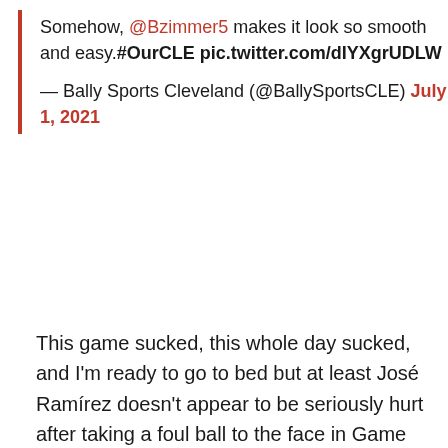Somehow, @Bzimmer5 makes it look so smooth and easy.#OurCLE pic.twitter.com/dIYXgrUDLW
— Bally Sports Cleveland (@BallySportsCLE) July 1, 2021
This game sucked, this whole day sucked, and I'm ready to go to bed but at least José Ramírez doesn't appear to be seriously hurt after taking a foul ball to the face in Game 1. He returned in the fourth inning after a quick trip to the hospital to make sure his squishy head meat wasn't ruined by the baseball.